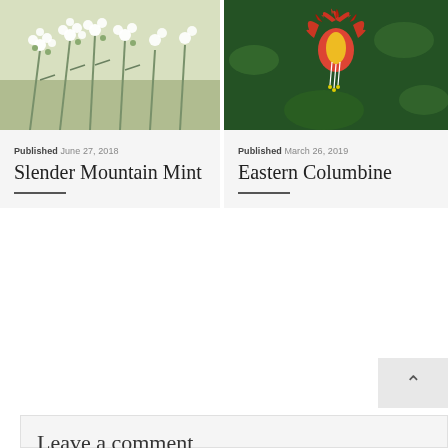[Figure (photo): Close-up photo of white Slender Mountain Mint flowers with small green buds and thin leaves]
Published June 27, 2018
Slender Mountain Mint
[Figure (photo): Close-up photo of a red and yellow Eastern Columbine flower hanging downward against green foliage background]
Published March 26, 2019
Eastern Columbine
Leave a comment